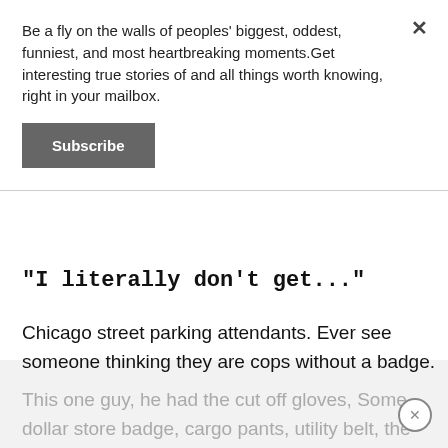Be a fly on the walls of peoples' biggest, oddest, funniest, and most heartbreaking moments.Get interesting true stories of and all things worth knowing, right in your mailbox.
Subscribe
"I literally don't get..."
Chicago street parking attendants. Ever see someone thinking they are cops without a badge. This one guy, he had the cut off gloves, Some dollar store badge, cargo pants, utility belt, the